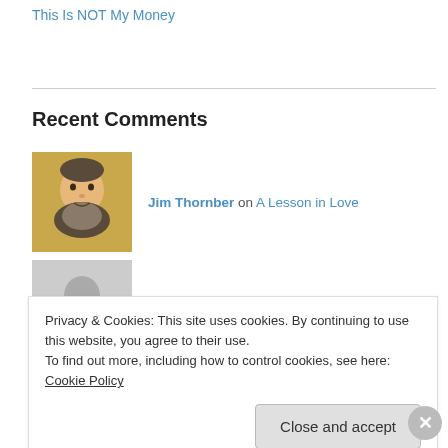This Is NOT My Money
Recent Comments
Jim Thornber on A Lesson in Love
Michael Ferris on A Lesson in Love
Jim Thornber on A Lesson in Love
nicole on A Lesson in Love
Privacy & Cookies: This site uses cookies. By continuing to use this website, you agree to their use. To find out more, including how to control cookies, see here: Cookie Policy
Advertisements